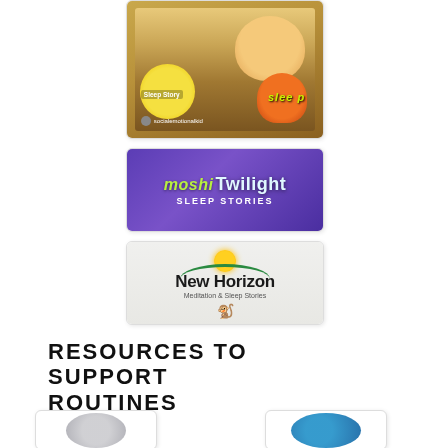[Figure (screenshot): Sleep Story thumbnail showing a child with Pikachu and Charmander plush toys, overlaid with 'Sleep Story' label and 'sleep' text, with socialemotionalkid watermark]
[Figure (logo): Moshi Twilight Sleep Stories logo on purple background with green and white stylized text]
[Figure (logo): New Horizon Meditation & Sleep Stories logo on light grey background with sun, arc, and monkey illustration]
RESOURCES TO SUPPORT ROUTINES
[Figure (logo): Partial circular logo, grey/silver tones, bottom left]
[Figure (logo): Partial circular logo, blue tones with '360', bottom right]